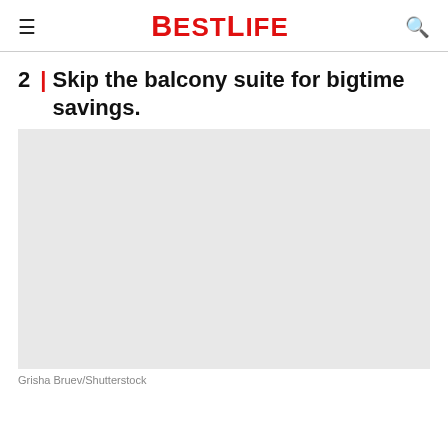BESTLIFE
2 | Skip the balcony suite for bigtime savings.
[Figure (photo): Placeholder image area (light gray rectangle) representing a hotel balcony suite photo]
Grisha Bruev/Shutterstock